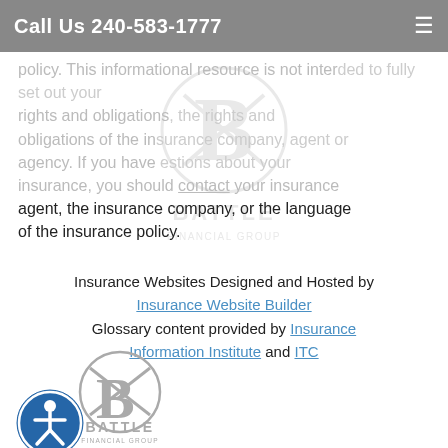Call Us 240-583-1777
policy. This informational resource is not intended to fully set out your rights and obligations, the rights and obligations of the insurance company, agent or agency. If you have questions about your insurance, you should contact your insurance agent, the insurance company, or the language of the insurance policy.
[Figure (logo): Battle Financial Group logo watermark centered on page]
Insurance Websites Designed and Hosted by Insurance Website Builder
Glossary content provided by Insurance Information Institute and ITC
[Figure (logo): Battle Financial Group logo at bottom left with accessibility icon]
[Figure (logo): Accessibility icon circle with person symbol]